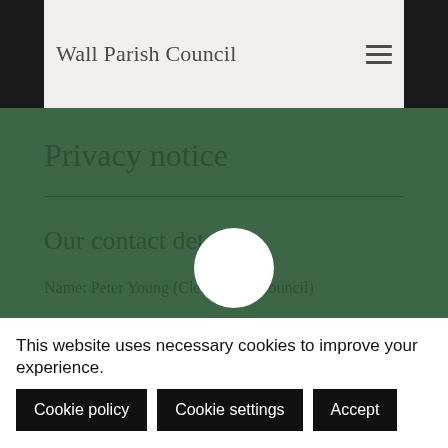Wall Parish Council
Privacy notice
Our contact details
Name: Peter Young (Clerk to the Council)
Address: 5 Hillside Lichfield WS14 9DQ
Phone Number: 07733 099655
This website uses necessary cookies to improve your experience.
Cookie policy   Cookie settings   Accept